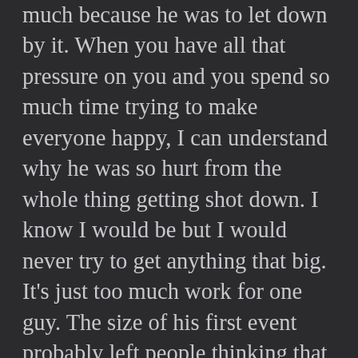much because he was to let down by it. When you have all that pressure on you and you spend so much time trying to make everyone happy, I can understand why he was so hurt from the whole thing getting shot down. I know I would be but I would never try to get anything that big. It’s just too much work for one guy. The size of his first event probably left people thinking that he had a full staff of people doing things for him. In reality, it was just him and some friends that helped him out with the minor stuff. Everything else was all Tony and I have a lot of respect for my friend because he pulled it